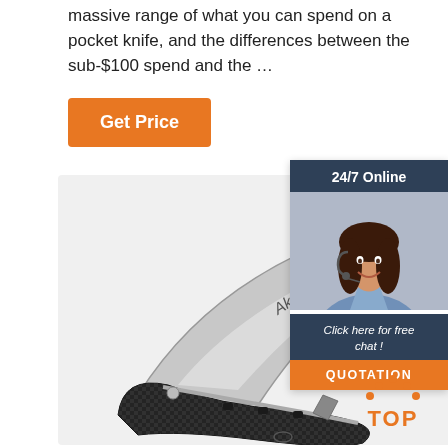massive range of what you can spend on a pocket knife, and the differences between the sub-$100 spend and the ...
[Figure (other): Orange 'Get Price' button]
[Figure (photo): A folding pocket knife with a silver blade branded 'Akey' and a black carbon fiber handle, open and displayed on a white background.]
[Figure (other): 24/7 Online chat widget showing a smiling female customer support agent with headset, with 'Click here for free chat!' text and an orange QUOTATION button]
[Figure (other): Orange and dark 'TOP' badge with arrow dots]